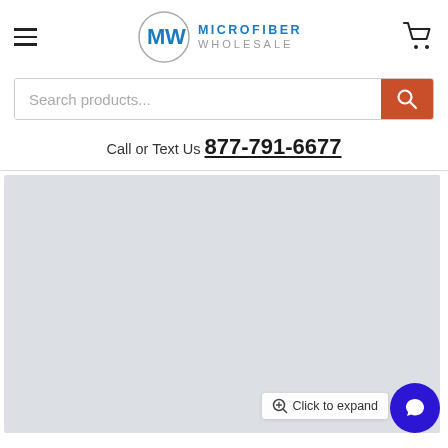[Figure (logo): Microfiber Wholesale logo with MW monogram in circle and text MICROFIBER WHOLESALE]
Call or Text Us 877-791-6677
[Figure (photo): Light gray product image placeholder area]
Click to expand